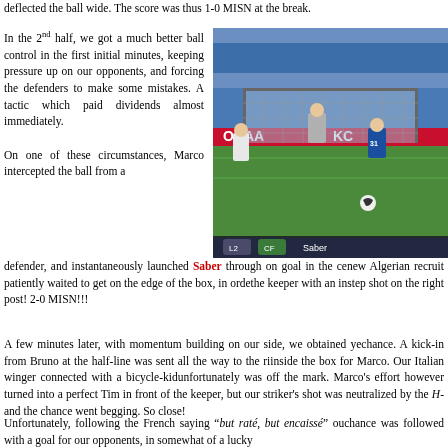deflected the ball wide. The score was thus 1-0 MISN at the break.
In the 2nd half, we got a much better ball control in the first initial minutes, keeping pressure up on our opponents, and forcing the defenders to make some mistakes. A tactic which paid dividends almost immediately.
[Figure (screenshot): A screenshot from a football video game showing players near the goal, with a blue-shirted player numbered 31 named Saber, HUD showing L2, CF, Saber controls at the bottom.]
On one of these circumstances, Marco intercepted the ball from a defender, and instantaneously launched Saber through on goal in the ce... new Algerian recruit patiently waited to get on the edge of the box, in orde... the keeper with an instep shot on the right post! 2-0 MISN!!!
A few minutes later, with momentum building on our side, we obtained ye... chance. A kick-in from Bruno at the half-line was sent all the way to the ri... inside the box for Marco. Our Italian winger connected with a bicycle-kid... unfortunately was off the mark. Marco's effort however turned into a perfect ... Tim in front of the keeper, but our striker's shot was neutralized by the H... and the chance went begging. So close!
Unfortunately, following the French saying “but raté, but encaissé” ou... chance was followed with a goal for our opponents, in somewhat of a lucky...